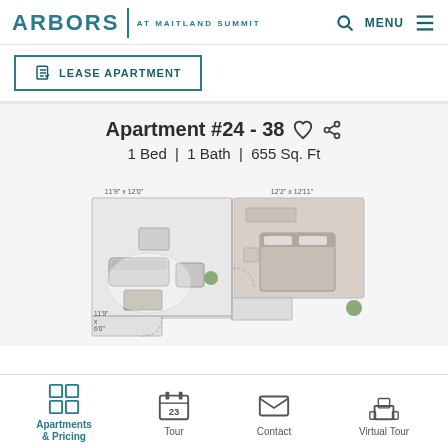ARBORS | AT MAITLAND SUMMIT
LEASE APARTMENT
Apartment #24 - 38
1 Bed  |  1 Bath  |  655 Sq. Ft
[Figure (engineering-diagram): 3D isometric floorplan of a 1-bedroom 1-bath apartment (655 sq ft). Living area labeled 11'9" x 12'0", bedroom labeled 12'2" x 12'11", kitchen area labeled 11'9" x 6'0". Shows furniture including sofa, chair, coffee table, bed, and plants in a top-down perspective rendering.]
Apartments & Pricing
Tour
Contact
Virtual Tour